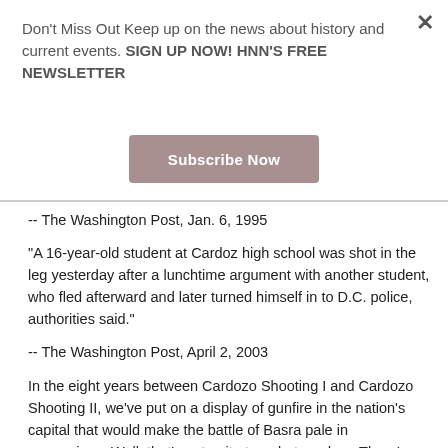Don't Miss Out Keep up on the news about history and current events. SIGN UP NOW! HNN'S FREE NEWSLETTER
Subscribe Now
-- The Washington Post, Jan. 6, 1995
"A 16-year-old student at Cardoz high school was shot in the leg yesterday after a lunchtime argument with another student, who fled afterward and later turned himself in to D.C. police, authorities said."
-- The Washington Post, April 2, 2003
In the eight years between Cardozo Shooting I and Cardozo Shooting II, we've put on a display of gunfire in the nation's capital that would make the battle of Basra pale in comparison. Well, that's not quite true, but read on. There's simply no telling how many people in the city have been threatened with a